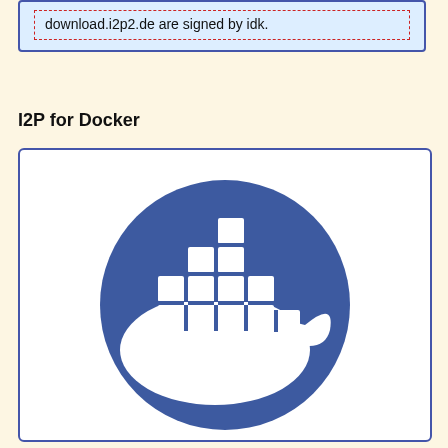download.i2p2.de are signed by idk.
I2P for Docker
[Figure (logo): Docker logo: white whale with containers on its back inside a blue circle, on a white background with blue border]